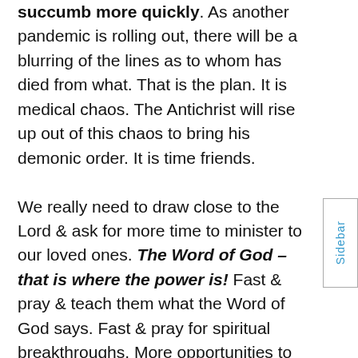succumb more quickly. As another pandemic is rolling out, there will be a blurring of the lines as to whom has died from what. That is the plan. It is medical chaos. The Antichrist will rise up out of this chaos to bring his demonic order. It is time friends.

We really need to draw close to the Lord & ask for more time to minister to our loved ones. The Word of God – that is where the power is! Fast & pray & teach them what the Word of God says. Fast & pray for spiritual breakthroughs. More opportunities to share the Gospel with more people, perhaps ones we have not reached out to. Don't forget to ask God to help continue to prepare you for your End Times assignment. We are